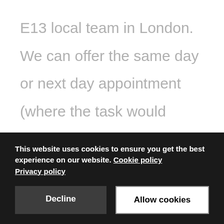E13 local team in London. We can offer the same day or next day appointment (where the task would require a brand trained technician). A fixed labor cost with a six-month guarantee is what you will be charged for our visit or repair. Your satisfaction is our
This website uses cookies to ensure you get the best experience on our website. Cookie policy Privacy policy
Decline
Allow cookies